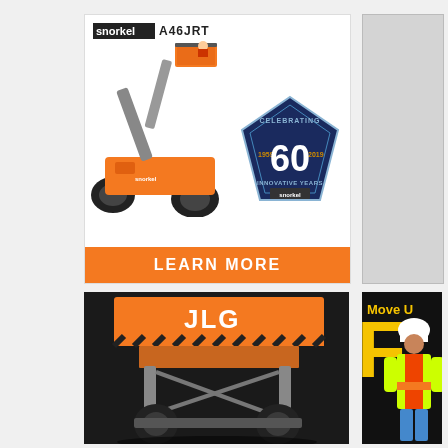[Figure (illustration): Snorkel A46JRT boom lift advertisement with orange articulating boom lift machine, 60 years celebrating badge (1959-2019 Innovative Years), Snorkel logo, and LEARN MORE call-to-action button in orange]
[Figure (photo): Partially visible gray/white advertisement panel on the right side]
[Figure (photo): JLG orange scissor lift photographed from rear angle on dark background, showing JLG branding on the platform]
[Figure (photo): Construction worker in yellow safety vest and white hard hat, with text 'Move U' and large letter 'F' visible in yellow, partially cropped advertisement]